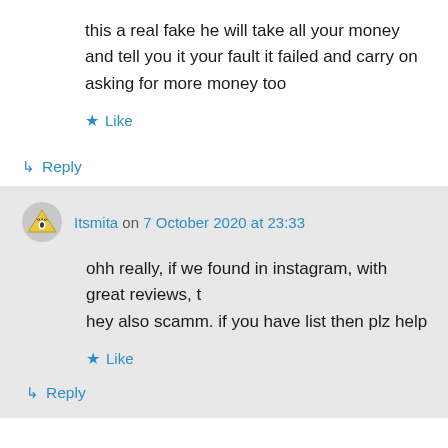this a real fake he will take all your money and tell you it your fault it failed and carry on asking for more money too
Like
Reply
Itsmita on 7 October 2020 at 23:33
ohh really, if we found in instagram, with great reviews, t hey also scamm. if you have list then plz help
Like
Reply